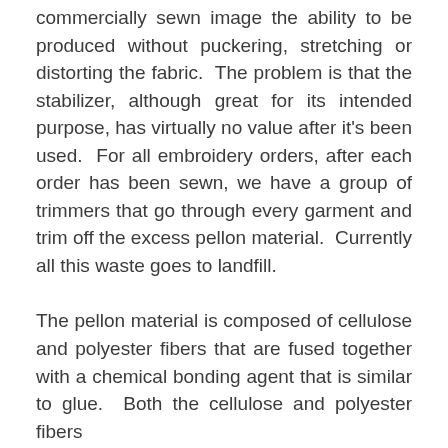commercially sewn image the ability to be produced without puckering, stretching or distorting the fabric.  The problem is that the stabilizer, although great for its intended purpose, has virtually no value after it's been used.  For all embroidery orders, after each order has been sewn, we have a group of trimmers that go through every garment and trim off the excess pellon material.  Currently all this waste goes to landfill.
The pellon material is composed of cellulose and polyester fibers that are fused together with a chemical bonding agent that is similar to glue.  Both the cellulose and polyester fibers